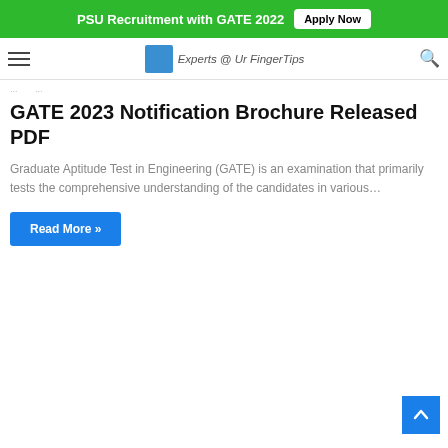PSU Recruitment with GATE 2022  Apply Now
Experts @ Ur FingerTips
...
GATE 2023 Notification Brochure Released PDF
Graduate Aptitude Test in Engineering (GATE) is an examination that primarily tests the comprehensive understanding of the candidates in various…
Read More »